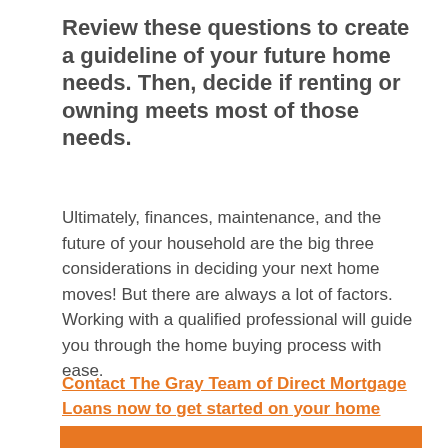Review these questions to create a guideline of your future home needs. Then, decide if renting or owning meets most of those needs.
Ultimately, finances, maintenance, and the future of your household are the big three considerations in deciding your next home moves! But there are always a lot of factors. Working with a qualified professional will guide you through the home buying process with ease.
Contact The Gray Team of Direct Mortgage Loans now to get started on your home buying future!
[Figure (other): Orange decorative bar at the bottom of the page]